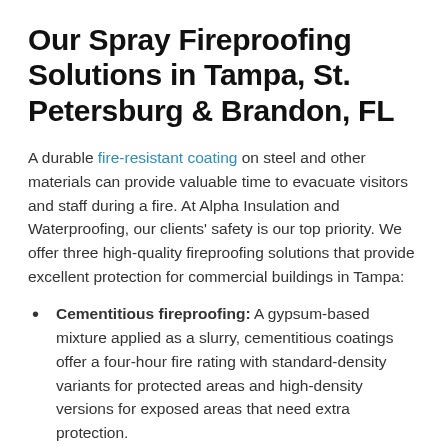Our Spray Fireproofing Solutions in Tampa, St. Petersburg & Brandon, FL
A durable fire-resistant coating on steel and other materials can provide valuable time to evacuate visitors and staff during a fire. At Alpha Insulation and Waterproofing, our clients' safety is our top priority. We offer three high-quality fireproofing solutions that provide excellent protection for commercial buildings in Tampa:
Cementitious fireproofing: A gypsum-based mixture applied as a slurry, cementitious coatings offer a four-hour fire rating with standard-density variants for protected areas and high-density versions for exposed areas that need extra protection.
Sprayed fiber fireproofing: Mineral wool fibers bound together with Portland cement, fiber-based coatings are